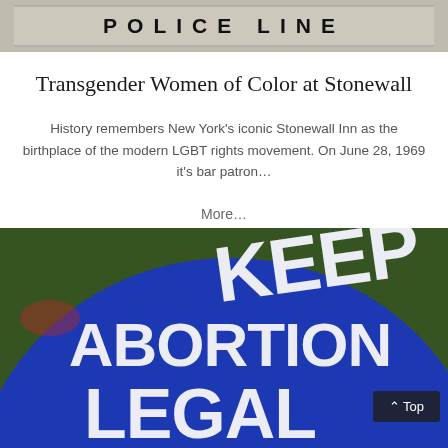[Figure (photo): Black and white photo of a police line barrier with text 'POLICE LINE' visible]
Transgender Women of Color at Stonewall
History remembers New York's iconic Stonewall Inn as the birthplace of the modern LGBT rights movement. On June 28, 1969 it's bar patron…
More…
[Figure (photo): Blue circular sign with white text reading 'KEEP ABORTION LEGAL' photographed close up at an angle, with a 'Top' button overlay in bottom right corner]